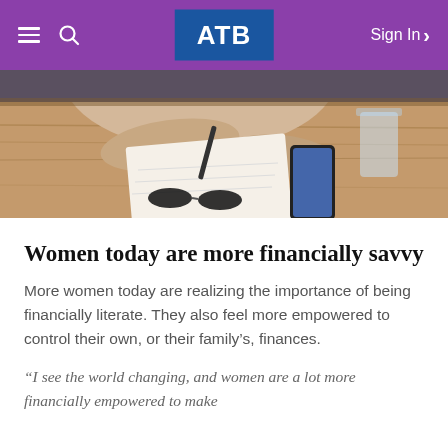ATB — Sign In
[Figure (photo): A person sitting at a wooden table writing in a notebook with a smartphone and glass of water nearby, viewed from above.]
Women today are more financially savvy
More women today are realizing the importance of being financially literate. They also feel more empowered to control their own, or their family's, finances.
“I see the world changing, and women are a lot more financially empowered to make...